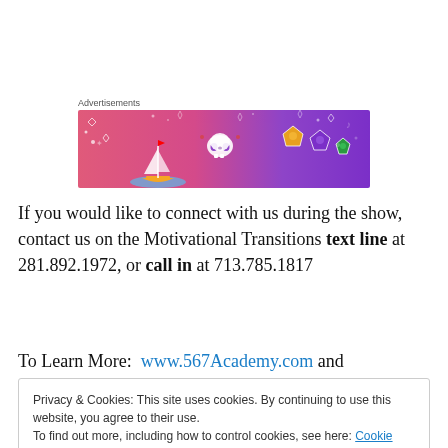Advertisements
[Figure (illustration): Colorful advertisement banner with a gradient from pink/red on the left to purple on the right, featuring illustrated stickers including a sailboat, skull, dice/gems, and decorative doodles in white.]
If you would like to connect with us during the show, contact us on the Motivational Transitions text line at 281.892.1972, or call in at 713.785.1817
To Learn More:  www.567Academy.com and
Privacy & Cookies: This site uses cookies. By continuing to use this website, you agree to their use.
To find out more, including how to control cookies, see here: Cookie Policy
Close and accept